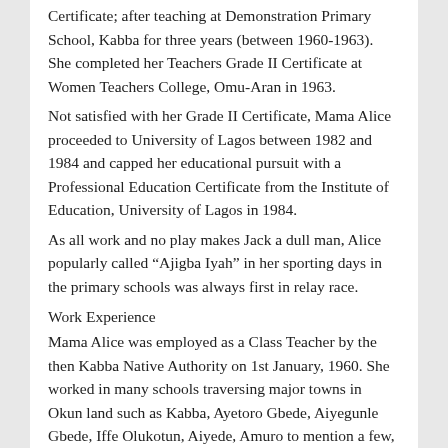Certificate; after teaching at Demonstration Primary School, Kabba for three years (between 1960-1963). She completed her Teachers Grade II Certificate at Women Teachers College, Omu-Aran in 1963.
Not satisfied with her Grade II Certificate, Mama Alice proceeded to University of Lagos between 1982 and 1984 and capped her educational pursuit with a Professional Education Certificate from the Institute of Education, University of Lagos in 1984.
As all work and no play makes Jack a dull man, Alice popularly called “Ajigba Iyah” in her sporting days in the primary schools was always first in relay race.
Work Experience
Mama Alice was employed as a Class Teacher by the then Kabba Native Authority on 1st January, 1960. She worked in many schools traversing major towns in Okun land such as Kabba, Ayetoro Gbede, Aiyegunle Gbede, Iffe Olukotun, Aiyede, Amuro to mention a few, as Class Teacher (Jan 1960-April 1974), Assistant Head Mistress, Head Mistress